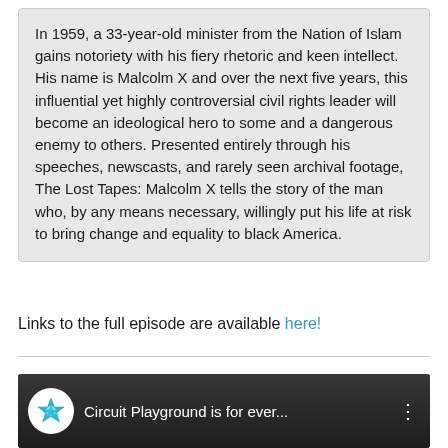In 1959, a 33-year-old minister from the Nation of Islam gains notoriety with his fiery rhetoric and keen intellect. His name is Malcolm X and over the next five years, this influential yet highly controversial civil rights leader will become an ideological hero to some and a dangerous enemy to others. Presented entirely through his speeches, newscasts, and rarely seen archival footage, The Lost Tapes: Malcolm X tells the story of the man who, by any means necessary, willingly put his life at risk to bring change and equality to black America.
Links to the full episode are available here!
[Figure (screenshot): Video thumbnail showing Circuit Playground channel icon (white circle with blue star) and title text 'Circuit Playground is for ever...' with a three-dot menu icon, on a dark background.]